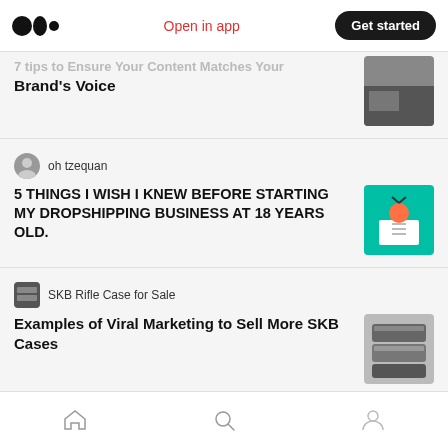Medium app header with logo, Open in app link, Get started button
Brand's Voice
oh tzequan
5 THINGS I WISH I KNEW BEFORE STARTING MY DROPSHIPPING BUSINESS AT 18 YEARS OLD.
SKB Rifle Case for Sale
Examples of Viral Marketing to Sell More SKB Cases
Matt Rickard in thebluemarble
How Brands are Using NFTs as a Marketing Tool
Bottom navigation bar with home, search, profile icons